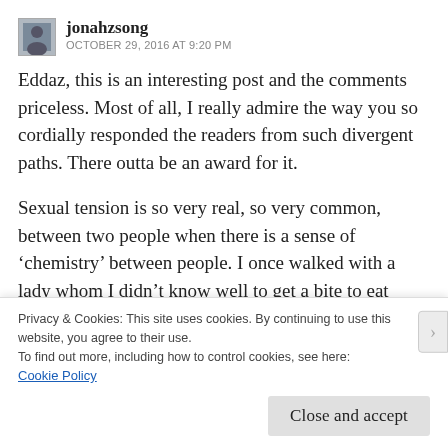jonahzsong
OCTOBER 29, 2016 AT 9:20 PM
Eddaz, this is an interesting post and the comments priceless. Most of all, I really admire the way you so cordially responded the readers from such divergent paths. There outta be an award for it.
Sexual tension is so very real, so very common, between two people when there is a sense of ‘chemistry’ between people. I once walked with a lady whom I didn’t know well to get a bite to eat
Privacy & Cookies: This site uses cookies. By continuing to use this website, you agree to their use.
To find out more, including how to control cookies, see here:
Cookie Policy
Close and accept